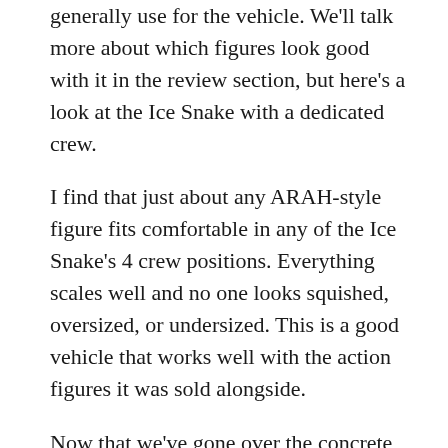generally use for the vehicle. We'll talk more about which figures look good with it in the review section, but here's a look at the Ice Snake with a dedicated crew.
I find that just about any ARAH-style figure fits comfortable in any of the Ice Snake's 4 crew positions. Everything scales well and no one looks squished, oversized, or undersized. This is a good vehicle that works well with the action figures it was sold alongside.
Now that we've gone over the concrete details, let's have some fun and get into the review.
1993 GI Joe Ice Snake Quick Review